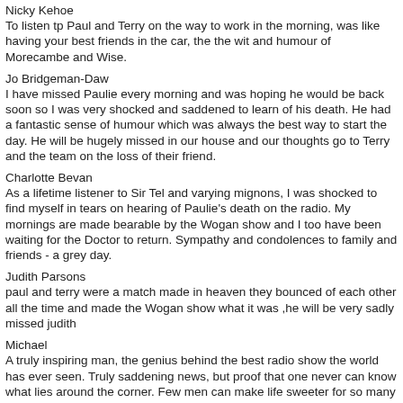Nicky Kehoe
To listen tp Paul and Terry on the way to work in the morning, was like having your best friends in the car, the the wit and humour of Morecambe and Wise.
Jo Bridgeman-Daw
I have missed Paulie every morning and was hoping he would be back soon so I was very shocked and saddened to learn of his death. He had a fantastic sense of humour which was always the best way to start the day. He will be hugely missed in our house and our thoughts go to Terry and the team on the loss of their friend.
Charlotte Bevan
As a lifetime listener to Sir Tel and varying mignons, I was shocked to find myself in tears on hearing of Paulie's death on the radio. My mornings are made bearable by the Wogan show and I too have been waiting for the Doctor to return. Sympathy and condolences to family and friends - a grey day.
Judith Parsons
paul and terry were a match made in heaven they bounced of each other all the time and made the Wogan show what it was ,he will be very sadly missed judith
Michael
A truly inspiring man, the genius behind the best radio show the world has ever seen. Truly saddening news, but proof that one never can know what lies around the corner. Few men can make life sweeter for so many millions of people so seemingly effortlessly in the way that Paul could; he will be missed and remembered for years to come. Thank you Paul, for